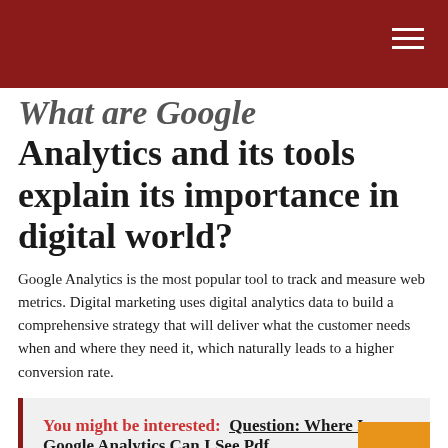What are Google Analytics and its tools explain its importance in digital world?
Google Analytics is the most popular tool to track and measure web metrics. Digital marketing uses digital analytics data to build a comprehensive strategy that will deliver what the customer needs when and where they need it, which naturally leads to a higher conversion rate.
You might be interested:  Question: Where In Google Analytics Can I See Pdf Downloads?